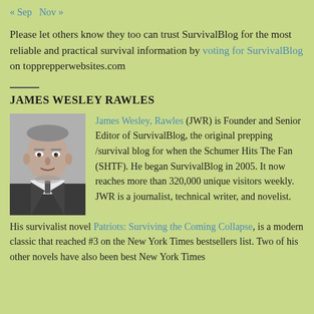« Sep   Nov »
Please let others know they too can trust SurvivalBlog for the most reliable and practical survival information by voting for SurvivalBlog on topprepperwebsites.com
JAMES WESLEY RAWLES
[Figure (photo): Black and white headshot photo of James Wesley Rawles, a middle-aged man in a suit]
James Wesley, Rawles (JWR) is Founder and Senior Editor of SurvivalBlog, the original prepping /survival blog for when the Schumer Hits The Fan (SHTF). He began SurvivalBlog in 2005. It now reaches more than 320,000 unique visitors weekly. JWR is a journalist, technical writer, and novelist. His survivalist novel Patriots: Surviving the Coming Collapse, is a modern classic that reached #3 on the New York Times bestsellers list. Two of his other novels have also been best New York Times